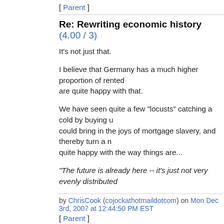[ Parent ]
Re: Rewriting economic history (4.00 / 3)
It's not just that.
I believe that Germany has a much higher proportion of rented are quite happy with that.
We have seen quite a few "locusts" catching a cold by buying u could bring in the joys of mortgage slavery, and thereby turn a n quite happy with the way things are...
"The future is already here -- it's just not very evenly distributed
by ChrisCook (cojockathotmaildotcom) on Mon Dec 3rd, 2007 at 12:44:50 PM EST
[ Parent ]
Rewriting economic history | 15 comments (15 topi
Display: Nested Set